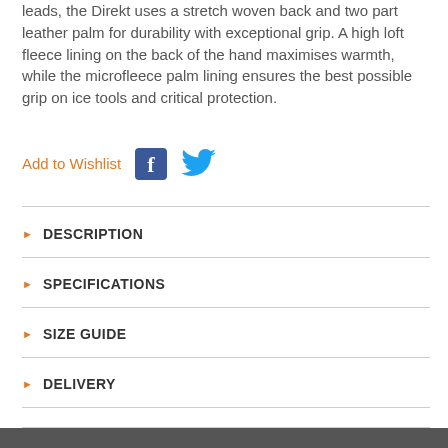leads, the Direkt uses a stretch woven back and two part leather palm for durability with exceptional grip. A high loft fleece lining on the back of the hand maximises warmth, while the microfleece palm lining ensures the best possible grip on ice tools and critical protection.
Add to Wishlist
[Figure (logo): Facebook icon - blue square with white f]
[Figure (logo): Twitter bird icon in blue]
DESCRIPTION
SPECIFICATIONS
SIZE GUIDE
DELIVERY
REVIEWS